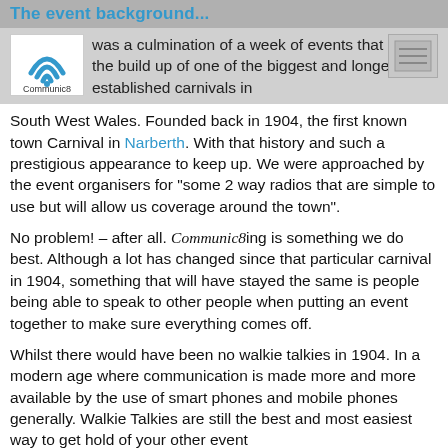The event background...
[Figure (logo): Communic8 logo with WiFi/signal icon and 'Communic8' text below]
The [Communic8 logo] was a culmination of a week of events that lead to the build up of one of the biggest and longest established carnivals in South West Wales. Founded back in 1904, the first known town Carnival in Narberth. With that history and such a prestigious appearance to keep up. We were approached by the event organisers for "some 2 way radios that are simple to use but will allow us coverage around the town".
No problem! – after all. Communic8ing is something we do best. Although a lot has changed since that particular carnival in 1904, something that will have stayed the same is people being able to speak to other people when putting an event together to make sure everything comes off.
Whilst there would have been no walkie talkies in 1904. In a modern age where communication is made more and more available by the use of smart phones and mobile phones generally. Walkie Talkies are still the best and most easiest way to get hold of your other event